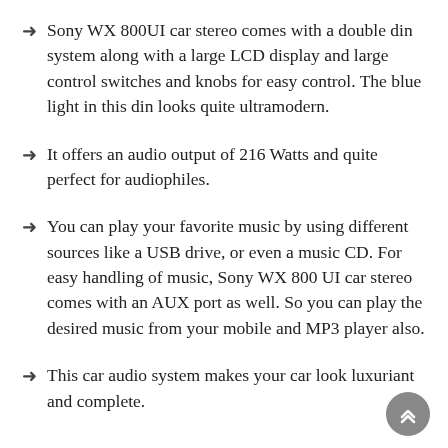Sony WX 800UI car stereo comes with a double din system along with a large LCD display and large control switches and knobs for easy control. The blue light in this din looks quite ultramodern.
It offers an audio output of 216 Watts and quite perfect for audiophiles.
You can play your favorite music by using different sources like a USB drive, or even a music CD. For easy handling of music, Sony WX 800 UI car stereo comes with an AUX port as well. So you can play the desired music from your mobile and MP3 player also.
This car audio system makes your car look luxuriant and complete.